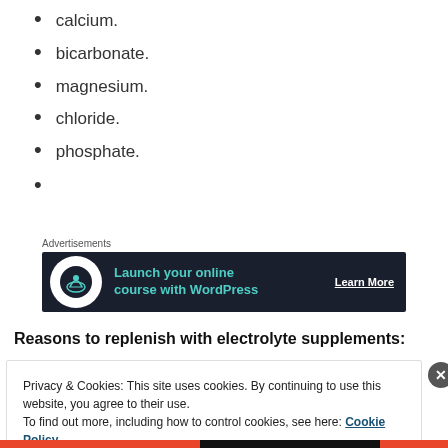calcium.
bicarbonate.
magnesium.
chloride.
phosphate.
[Figure (other): Advertisement banner: Launch your online course with WordPress – Learn More]
Reasons to replenish with electrolyte supplements:
Privacy & Cookies: This site uses cookies. By continuing to use this website, you agree to their use.
To find out more, including how to control cookies, see here: Cookie Policy